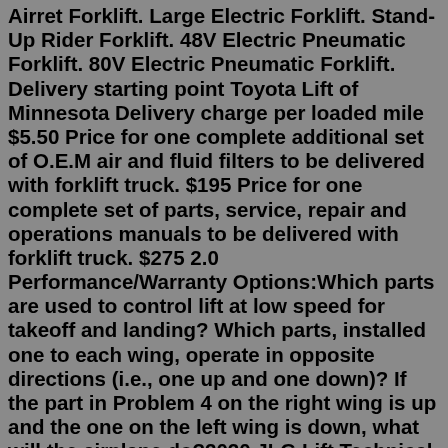Airret Forklift. Large Electric Forklift. Stand-Up Rider Forklift. 48V Electric Pneumatic Forklift. 80V Electric Pneumatic Forklift. Delivery starting point Toyota Lift of Minnesota Delivery charge per loaded mile $5.50 Price for one complete additional set of O.E.M air and fluid filters to be delivered with forklift truck. $195 Price for one complete set of parts, service, repair and operations manuals to be delivered with forklift truck. $275 2.0 Performance/Warranty Options:Which parts are used to control lift at low speed for takeoff and landing? Which parts, installed one to each wing, operate in opposite directions (i.e., one up and one down)? If the part in Problem 4 on the right wing is up and the one on the left wing is down, what will the airplane do?2020 JLG Lift Technical Library Service +Parts Manual PDF [11.2021] Liebherr Lidos Mining Parts & Service Manuals Offline VM Version Note All items price in autoepccatalog.com are for Installation & Guide Service Fees .All software are copyrighted by origial company. Forklifts have had the same basic